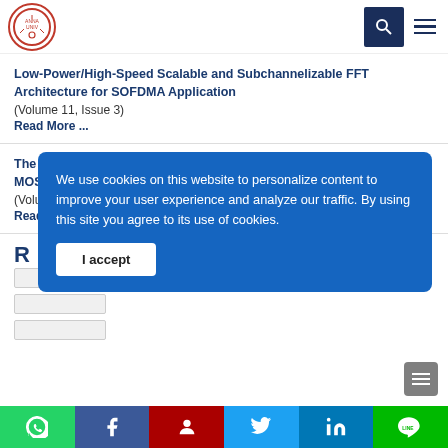University journal website header with logo, search and menu
Low-Power/High-Speed Scalable and Subchannelizable FFT Architecture for SOFDMA Application
(Volume 11, Issue 3)
Read More ...
The Pretreatment Effects on Gate Oxide Quality of a Trench-Typed MOSFET Device
(Volume 11, Issue 3)
Read More ...
We use cookies on this website to personalize content to improve your user experience and analyze our traffic. By using this site you agree to its use of cookies.
I accept
Social sharing bar: WhatsApp, Facebook, Meneame, Twitter, LinkedIn, LINE